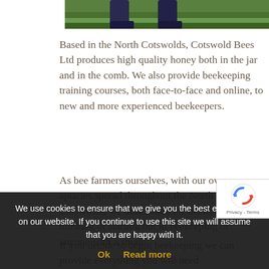[Figure (photo): Partial view of a beekeeper's legs/boots standing on green grass, top portion of image cropped]
Based in the North Cotswolds, Cotswold Bees Ltd produces high quality honey both in the jar and in the comb. We also provide beekeeping training courses, both face-to-face and online, to new and more experienced beekeepers.
As bee farmers ourselves, with our own apiaries spread throughout the North Cotswolds, we understand the needs of anyone thinking of starting out in beekeeping or anyone with a small
If you decide to begin beekeeping we can provide everything you will need
We use cookies to ensure that we give you the best experience on our website. If you continue to use this site we will assume that you are happy with it.